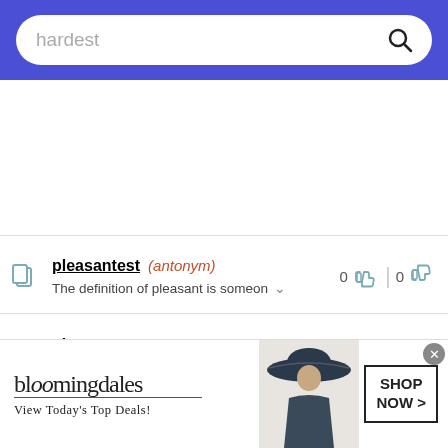hardest [search bar]
pleasantest (antonym) — The definition of pleasant is someon… 0 likes | 0 dislikes
nicest (antonym) — Exhibiting courtesy and politeness: 0 likes | 0 dislikes
kindest (antonym)
[Figure (screenshot): Bloomingdale's advertisement banner: 'View Today's Top Deals! SHOP NOW >' with model in wide-brim hat]